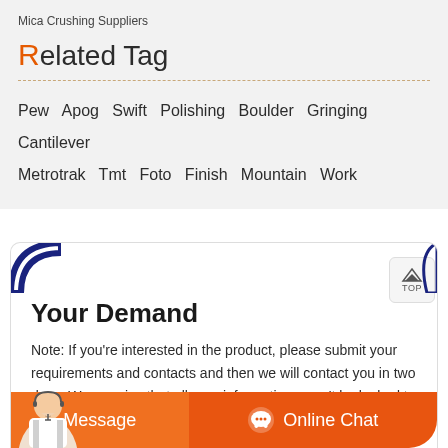Mica Crushing Suppliers
Related Tag
Pew  Apog  Swift  Polishing  Boulder  Gringing  Cantilever  Metrotrak  Tmt  Foto  Finish  Mountain  Work
Your Demand
Note: If you're interested in the product, please submit your requirements and contacts and then we will contact you in two days. We promise that all your informations won't be leaked to anyone.
Message   Online Chat